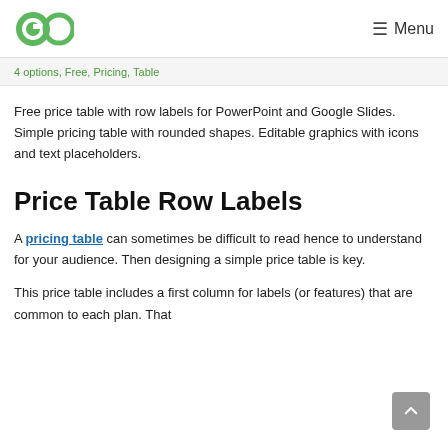GO  ☰ Menu
4 options, Free, Pricing, Table
Free price table with row labels for PowerPoint and Google Slides. Simple pricing table with rounded shapes. Editable graphics with icons and text placeholders.
Price Table Row Labels
A pricing table can sometimes be difficult to read hence to understand for your audience. Then designing a simple price table is key.
This price table includes a first column for labels (or features) that are common to each plan. That